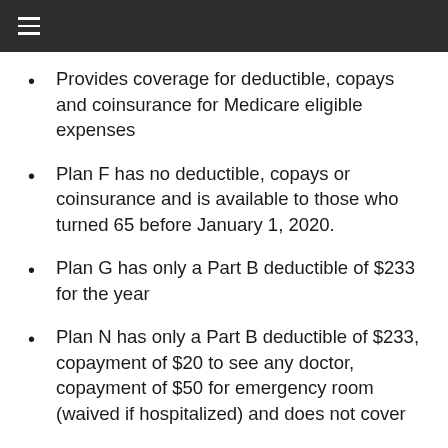≡
Provides coverage for deductible, copays and coinsurance for Medicare eligible expenses
Plan F has no deductible, copays or coinsurance and is available to those who turned 65 before January 1, 2020.
Plan G has only a Part B deductible of $233 for the year
Plan N has only a Part B deductible of $233, copayment of $20 to see any doctor, copayment of $50 for emergency room (waived if hospitalized) and does not cover